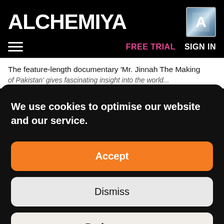ALCHEMIYA
FREE TRIAL   SIGN IN
The feature-length documentary 'Mr. Jinnah The Making of Pakistan' gives fascinating insight into the world...
We use cookies to optimise our website and our service.
Accept
Dismiss
Preferences
Cookie Information   Privacy Policy